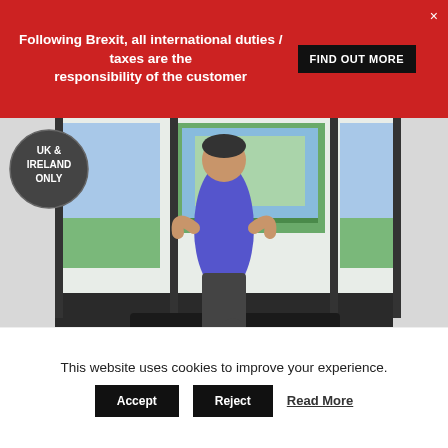Following Brexit, all international duties / taxes are the responsibility of the customer FIND OUT MORE ×
[Figure (photo): Woman in blue athletic top and dark yoga pants standing in tree pose on a fitness dance mat, with a large monitor display showing a virtual outdoor scene behind her. A circular badge overlay reads 'UK & IRELAND ONLY'.]
This website uses cookies to improve your experience.
Accept   Reject   Read More